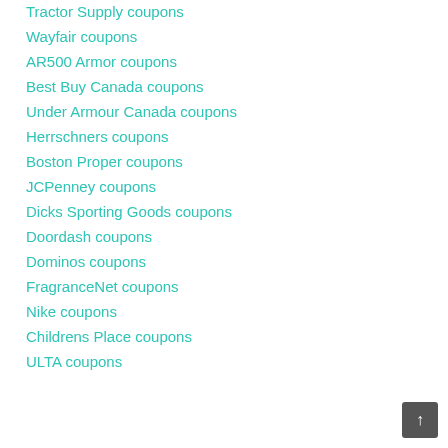Tractor Supply coupons
Wayfair coupons
AR500 Armor coupons
Best Buy Canada coupons
Under Armour Canada coupons
Herrschners coupons
Boston Proper coupons
JCPenney coupons
Dicks Sporting Goods coupons
Doordash coupons
Dominos coupons
FragranceNet coupons
Nike coupons
Childrens Place coupons
ULTA coupons